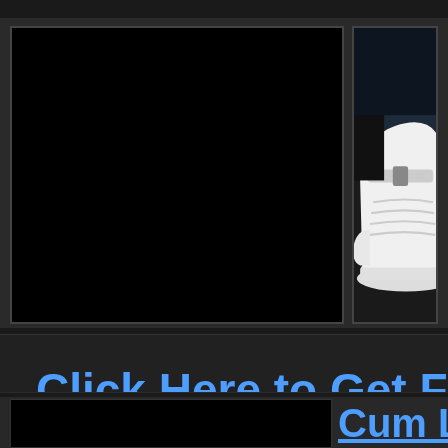[Figure (photo): Black rectangle photo placeholder on left]
[Figure (photo): Photo of white high-top sneaker/shoe on right side]
Click Here to Get Full A
[Figure (photo): Black rectangle photo placeholder at bottom left]
Cum Lo